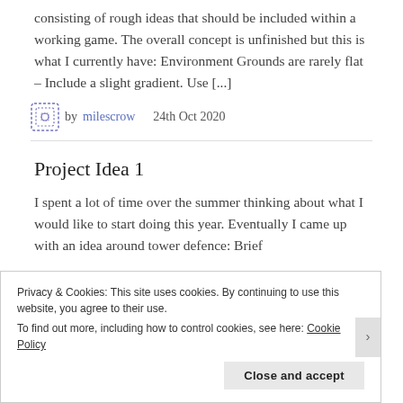consisting of rough ideas that should be included within a working game. The overall concept is unfinished but this is what I currently have: Environment Grounds are rarely flat – Include a slight gradient. Use [...]
by milescrow   24th Oct 2020
Project Idea 1
I spent a lot of time over the summer thinking about what I would like to start doing this year. Eventually I came up with an idea around tower defence: Brief
Privacy & Cookies: This site uses cookies. By continuing to use this website, you agree to their use.
To find out more, including how to control cookies, see here: Cookie Policy
Close and accept